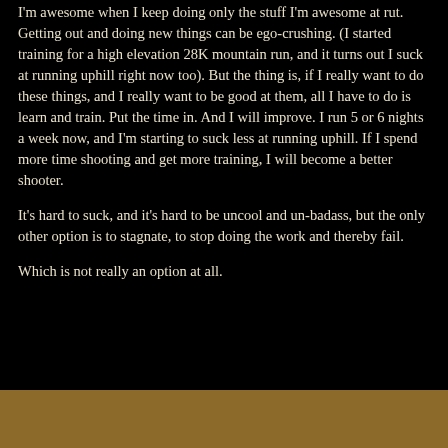I'm awesome when I keep doing only the stuff I'm awesome at rut. Getting out and doing new things can be ego-crushing. (I started training for a high elevation 28K mountain run, and it turns out I suck at running uphill right now too). But the thing is, if I really want to do these things, and I really want to be good at them, all I have to do is learn and train. Put the time in. And I will improve. I run 5 or 6 nights a week now, and I'm starting to suck less at running uphill. If I spend more time shooting and get more training, I will become a better shooter.
It's hard to suck, and it's hard to be uncool and un-badass, but the only other option is to stagnate, to stop doing the work and thereby fail.
Which is not really an option at all.